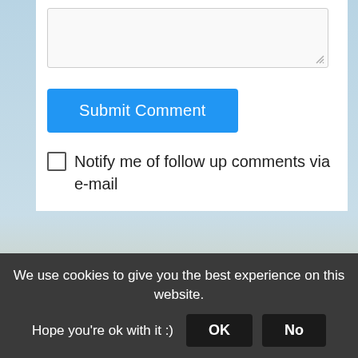[Figure (screenshot): Comment textarea with resize handle at bottom right]
Submit Comment
Notify me of follow up comments via e-mail
Subscribe
[Figure (screenshot): Social media icon placeholders - three circular grey icons]
We use cookies to give you the best experience on this website. Hope you're ok with it :)